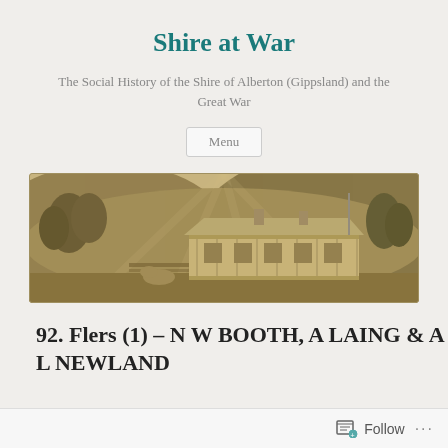Shire at War
The Social History of the Shire of Alberton (Gippsland) and the Great War
Menu
[Figure (photo): Sepia-toned panoramic photograph of a colonial-era homestead with a wide verandah, surrounded by trees and hills, with a horse or cow visible in the foreground.]
92. Flers (1) – N W BOOTH, A LAING & A L NEWLAND
Follow ...